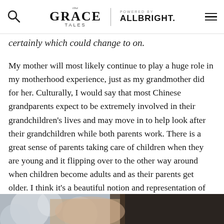The Grace Tales | POWERED BY ALLBRIGHT.
certainly which could change to on.
My mother will most likely continue to play a huge role in my motherhood experience, just as my grandmother did for her. Culturally, I would say that most Chinese grandparents expect to be extremely involved in their grandchildren's lives and may move in to help look after their grandchildren while both parents work. There is a great sense of parents taking care of children when they are young and it flipping over to the other way around when children become adults and as their parents get older. I think it's a beautiful notion and representation of the circle of life.
[Figure (photo): Bottom portion of a photo showing a person with dark hair, partially visible, on a blurred background]